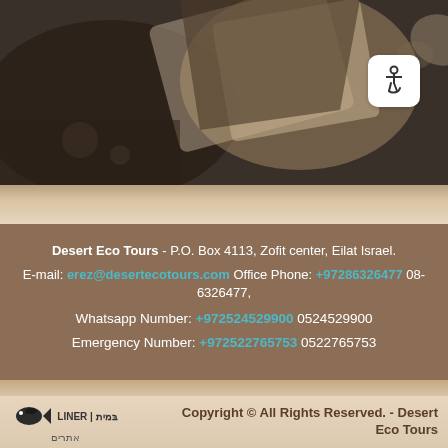[Figure (photo): Dark sepia-toned photo showing hands or rocks with sandy/desert textures, top portion of page]
Desert Eco Tours - P.O. Box 4113, Zofit center, Eilat Israel.
E-mail: erez@desertecotours.com Office Phone: +97286326477  08-6326477,
Whatsapp Number:  +972524529900  0524529900
Emergency Number: +972522765753   0522765753
Copyright © All Rights Reserved. - Desert Eco Tours